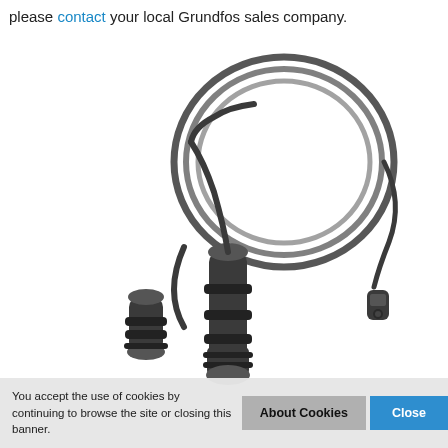please contact your local Grundfos sales company.
[Figure (photo): Product photo of Grundfos cable connectors: a coiled black cable with small connector end, two cylindrical waterproof connectors, and a longer inline connector body, all in dark grey/black plastic on white background.]
You accept the use of cookies by continuing to browse the site or closing this banner.